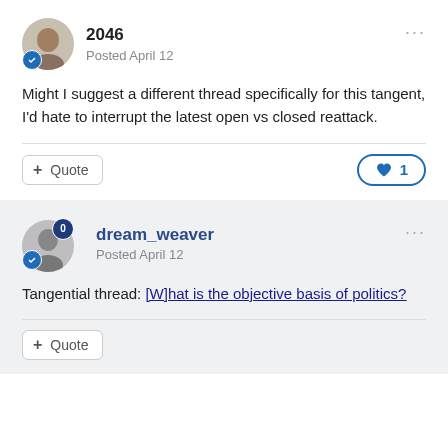2046
Posted April 12
Might I suggest a different thread specifically for this tangent, I'd hate to interrupt the latest open vs closed reattack.
Quote
1
dream_weaver
Posted April 12
Tangential thread: [W]hat is the objective basis of politics?
Quote